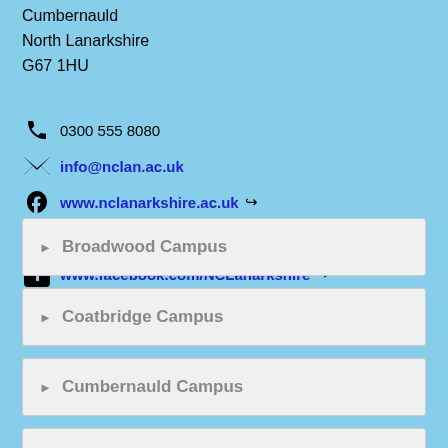Cumbernauld
North Lanarkshire
G67 1HU
0300 555 8080
info@nclan.ac.uk
www.nclanarkshire.ac.uk
@NCLanarkshire
www.facebook.com/NCLanarkshire
Broadwood Campus
Coatbridge Campus
Cumbernauld Campus
Hamilton Campus